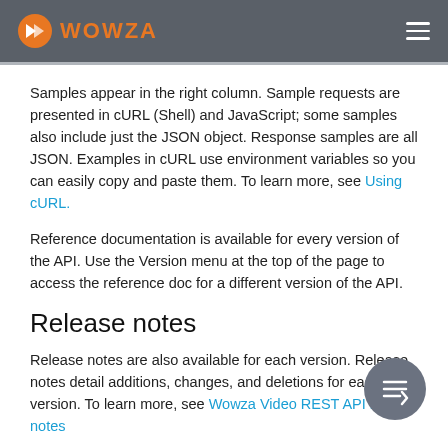WOWZA
Samples appear in the right column. Sample requests are presented in cURL (Shell) and JavaScript; some samples also include just the JSON object. Response samples are all JSON. Examples in cURL use environment variables so you can easily copy and paste them. To learn more, see Using cURL.
Reference documentation is available for every version of the API. Use the Version menu at the top of the page to access the reference doc for a different version of the API.
Release notes
Release notes are also available for each version. Release notes detail additions, changes, and deletions for each version. To learn more, see Wowza Video REST API release notes